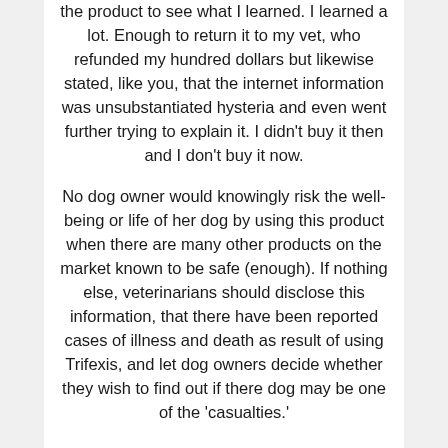the product to see what I learned. I learned a lot. Enough to return it to my vet, who refunded my hundred dollars but likewise stated, like you, that the internet information was unsubstantiated hysteria and even went further trying to explain it. I didn't buy it then and I don't buy it now.
No dog owner would knowingly risk the well-being or life of her dog by using this product when there are many other products on the market known to be safe (enough). If nothing else, veterinarians should disclose this information, that there have been reported cases of illness and death as result of using Trifexis, and let dog owners decide whether they wish to find out if there dog may be one of the 'casualties.'
I don't know what the incentive is for you and other vets to continue supporting this drug in light of all the reported deaths. I still